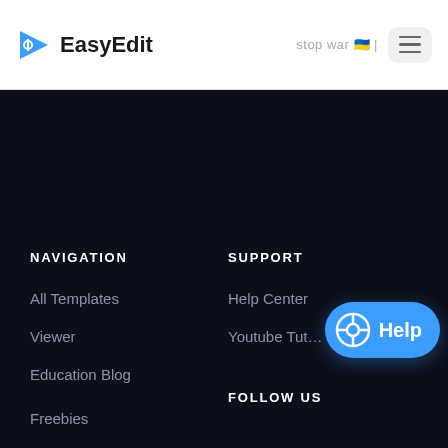EasyEdit | stop war 🇺🇦 |
NAVIGATION
All Templates
Viewer
Education Blog
Freebies
SUPPORT
Help Center
Youtube Tut…
FOLLOW US
[Figure (illustration): Help button with lifebuoy icon and 'Help' label in blue rounded pill shape]